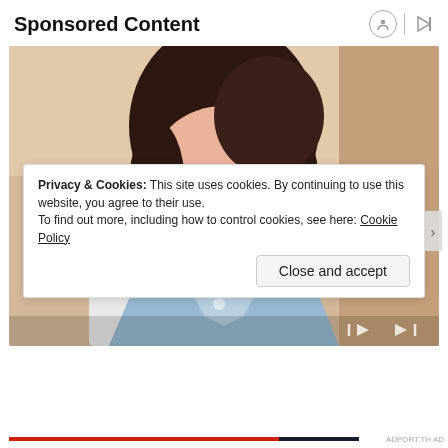Sponsored Content
[Figure (photo): Woman with dark hair sitting at a desk in an office, holding her temples with both hands, looking stressed or thoughtful, wearing a light blue collared shirt]
Privacy & Cookies: This site uses cookies. By continuing to use this website, you agree to their use.
To find out more, including how to control cookies, see here: Cookie Policy
Close and accept